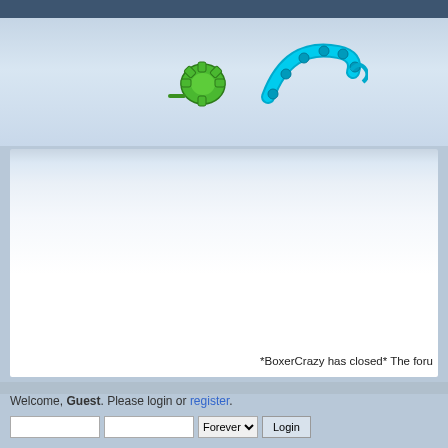[Figure (logo): Forum website header with two gear/cog icons — a green gear on the left and a teal/cyan gear on the right — on a light blue gradient background]
[Figure (screenshot): Forum main content area with light blue-to-white gradient background, mostly empty, with text at bottom right: '*BoxerCrazy has closed* The foru']
*BoxerCrazy has closed* The foru
Welcome, Guest. Please login or register.
Forever  Login